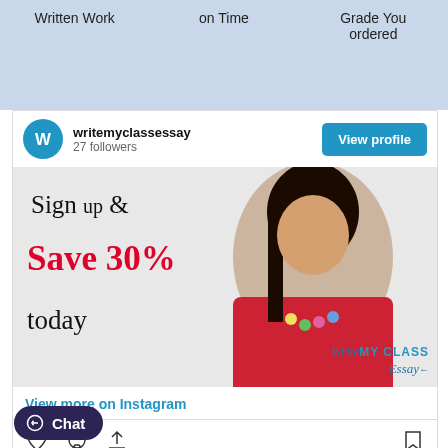Written Work    on Time    Grade You ordered
writemyclassessay
27 followers
[Figure (screenshot): Instagram post for writemyclassessay showing a young woman in red jacket with text 'Sign up & Save 30% today' and WriteMY CLASS Essay watermark]
View more on Instagram
Chat